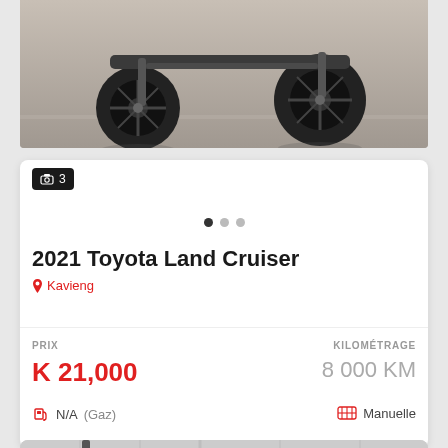[Figure (photo): Bottom-angle photo of a Toyota Land Cruiser showing undercarriage and black off-road tires on a gray background]
[Figure (infographic): Carousel indicator badge showing '3' images, with three dots (first filled, two gray)]
2021 Toyota Land Cruiser
Kavieng
PRIX
K 21,000
KILOMÉTRAGE
8 000 KM
N/A (Gaz)
Manuelle
[Figure (photo): Partial bottom photo of a white Toyota Land Cruiser with a snorkel, taken in a white-curtained environment]